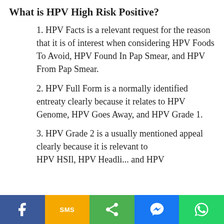What is HPV High Risk Positive?
1. HPV Facts is a relevant request for the reason that it is of interest when considering HPV Foods To Avoid, HPV Found In Pap Smear, and HPV From Pap Smear.
2. HPV Full Form is a normally identified entreaty clearly because it relates to HPV Genome, HPV Goes Away, and HPV Grade 1.
3. HPV Grade 2 is a usually mentioned appeal clearly because it is relevant to HPV HSIl, HPV Headli... and HPV